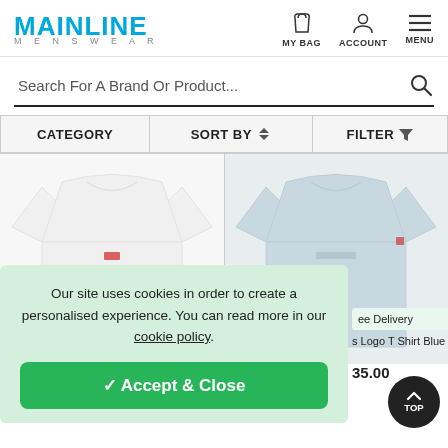MAINLINE MENSWEAR
Search For A Brand Or Product...
| CATEGORY | SORT BY | FILTER |
| --- | --- | --- |
[Figure (photo): White t-shirt product photo]
[Figure (photo): Light blue t-shirt product photo]
Our site uses cookies in order to create a personalised experience. You can read more in our cookie policy.
✓ Accept & Close
ee Delivery
s Logo T Shirt Blue
35.00